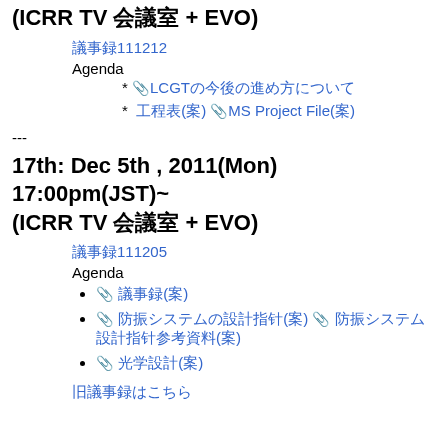(ICRR TV 会議室 + EVO)
議事録111212
Agenda
* 📎 LCGTの今後の進め方について
*  工程表(案) 📎 MS Project File(案)
---
17th: Dec 5th , 2011(Mon) 17:00pm(JST)~ (ICRR TV 会議室 + EVO)
議事録111205
Agenda
📎 議事録(案)
📎 防振システムの設計指針(案) 📎 防振システム設計指針参考資料(案)
📎 光学設計(案)
旧議事録はこちら